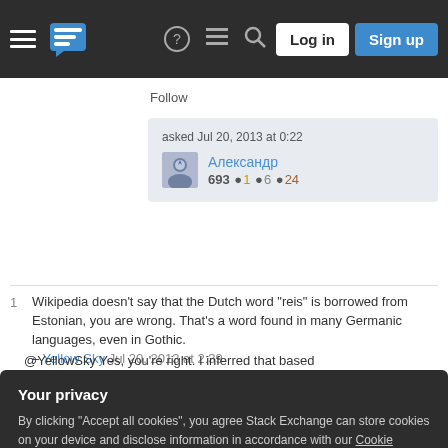Stack Exchange navigation bar with hamburger menu, logo, help, chat, search icons, Log in and Sign up buttons
Follow
asked Jul 20, 2013 at 0:22
Александр
693 ●1 ●6 ●24
1  Wikipedia doesn't say that the Dutch word "reis" is borrowed from Estonian, you are wrong. That's a word found in many Germanic languages, even in Gothic.
– Yellow Sky Jul 20, 2013 at 2:39
@YellowSky Yes, you're right. I inferred that based
Your privacy
By clicking "Accept all cookies", you agree Stack Exchange can store cookies on your device and disclose information in accordance with our Cookie Policy.
Accept all cookies    Customize settings
them, but I don't know much about Germans being